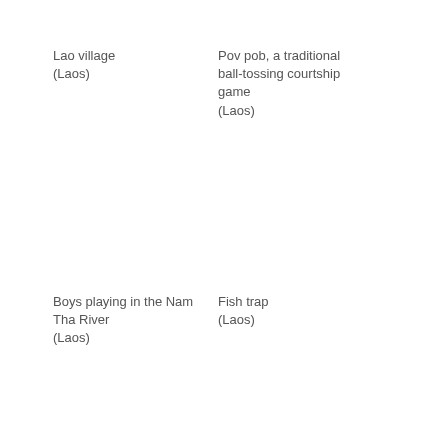Lao village (Laos)
Pov pob, a traditional ball-tossing courtship game (Laos)
Boys playing in the Nam Tha River (Laos)
Fish trap (Laos)